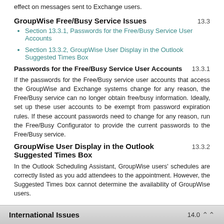effect on messages sent to Exchange users.
GroupWise Free/Busy Service Issues 13.3
Section 13.3.1, Passwords for the Free/Busy Service User Accounts
Section 13.3.2, GroupWise User Display in the Outlook Suggested Times Box
Passwords for the Free/Busy Service User Accounts 13.3.1
If the passwords for the Free/Busy service user accounts that access the GroupWise and Exchange systems change for any reason, the Free/Busy service can no longer obtain free/busy information. Ideally, set up these user accounts to be exempt from password expiration rules. If these account passwords need to change for any reason, run the Free/Busy Configurator to provide the current passwords to the Free/Busy service.
GroupWise User Display in the Outlook Suggested Times Box 13.3.2
In the Outlook Scheduling Assistant, GroupWise users' schedules are correctly listed as you add attendees to the appointment. However, the Suggested Times box cannot determine the availability of GroupWise users.
International Issues 14.0